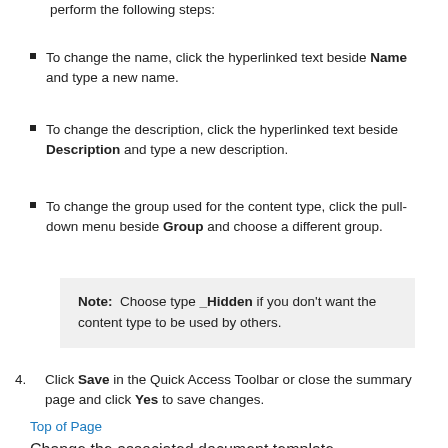perform the following steps:
To change the name, click the hyperlinked text beside Name and type a new name.
To change the description, click the hyperlinked text beside Description and type a new description.
To change the group used for the content type, click the pull-down menu beside Group and choose a different group.
Note: Choose type _Hidden if you don't want the content type to be used by others.
Click Save in the Quick Access Toolbar or close the summary page and click Yes to save changes.
Top of Page
Change the associated document template